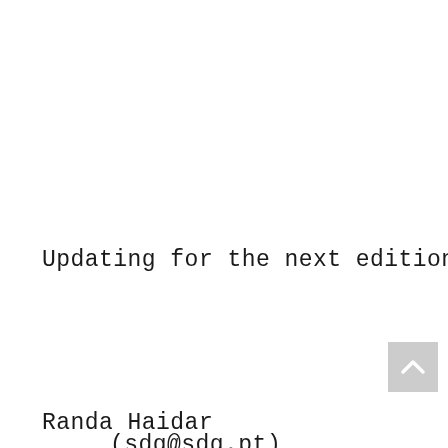Updating for the next edition
[Figure (other): Scroll-to-top button: grey square with white upward-pointing chevron/arrow]
Randa Haidar
(sdg@sdg.pt)